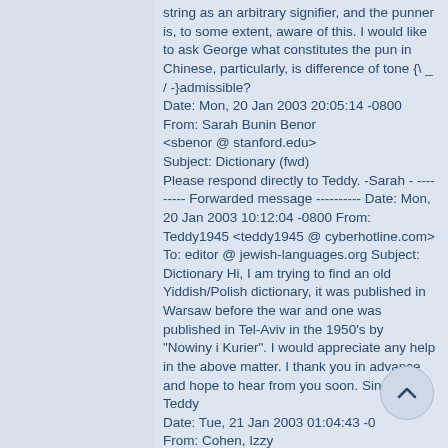string as an arbitrary signifier, and the punner is, to some extent, aware of this. I would like to ask George what constitutes the pun in Chinese, particularly, is difference of tone {\ _ / -}admissible? Date: Mon, 20 Jan 2003 20:05:14 -0800 From: Sarah Bunin Benor <sbenor @ stanford.edu> Subject: Dictionary (fwd) Please respond directly to Teddy. -Sarah - --------- Forwarded message ---------- Date: Mon, 20 Jan 2003 10:12:04 -0800 From: Teddy1945 <teddy1945 @ cyberhotline.com> To: editor @ jewish-languages.org Subject: Dictionary Hi, I am trying to find an old Yiddish/Polish dictionary, it was published in Warsaw before the war and one was published in Tel-Aviv in the 1950's by "Nowiny i Kurier". I would appreciate any help in the above matter. I thank you in advance and hope to hear from you soon. Sincerely, Teddy Date: Tue, 21 Jan 2003 01:04:43 -0 From: Cohen, Izzy <izzy_cohen @ bmc.com> Subject: puns => Job 19:20 =>